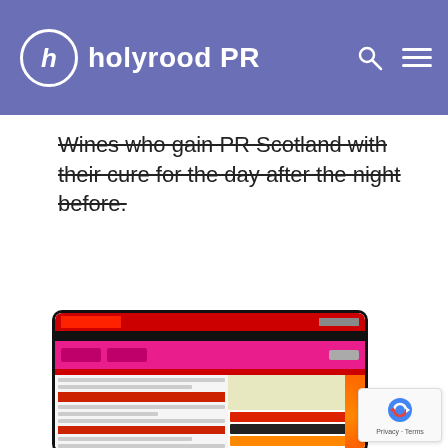holyrood PR
Wines who gain PR Scotland with their cure for the day after the night before.
[Figure (screenshot): A blurry screenshot of a news website (Perthshire Advertiser) displayed in a mobile browser frame, showing a colorful webpage with pink, red, orange, and black sections, navigation bars, and article content.]
[Figure (logo): Google reCAPTCHA badge with Privacy and Terms text]